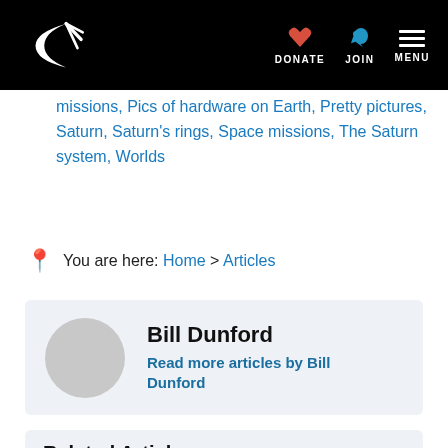Planetary Society navigation bar with logo, DONATE, JOIN, MENU
missions, Pics of hardware on Earth, Pretty pictures, Saturn, Saturn's rings, Space missions, The Saturn system, Worlds
You are here: Home > Articles
Bill Dunford
Read more articles by Bill Dunford
Related Articles